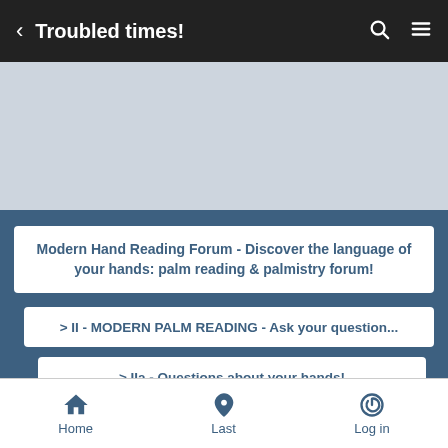< Troubled times!
[Figure (screenshot): Light gray advertisement or image placeholder area]
Modern Hand Reading Forum - Discover the language of your hands: palm reading & palmistry forum!
> II - MODERN PALM READING - Ask your question...
> IIa - Questions about your hands!
Troubled times!
Home  Last  Log in